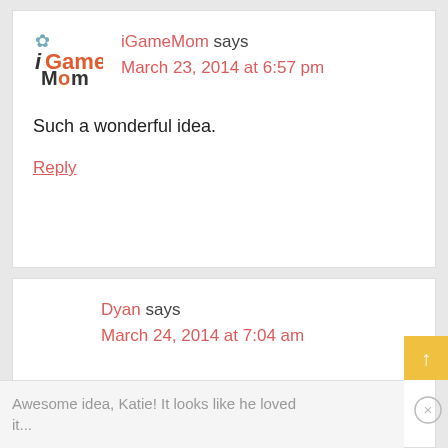[Figure (logo): iGameMom logo with flower icon]
iGameMom says
March 23, 2014 at 6:57 pm
Such a wonderful idea.
Reply
Dyan says
March 24, 2014 at 7:04 am
Awesome idea, Katie! It looks like he loved it...